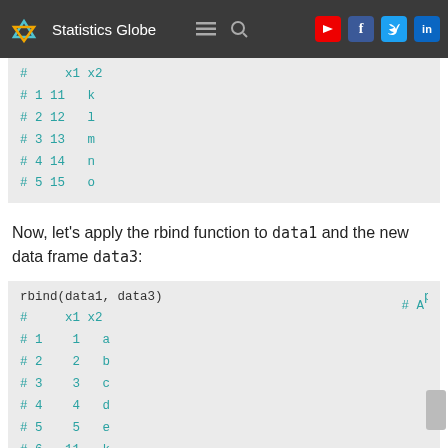Statistics Globe
[Figure (screenshot): Code output block showing data frame with columns x1 x2 and rows 1-5 with values 11-15 and k,l,m,n,o]
Now, let's apply the rbind function to data1 and the new data frame data3:
[Figure (screenshot): Code block showing rbind(data1, data3) with output rows 1-10, x1 values 1-5 then 11-15, x2 values a-e then k-o]